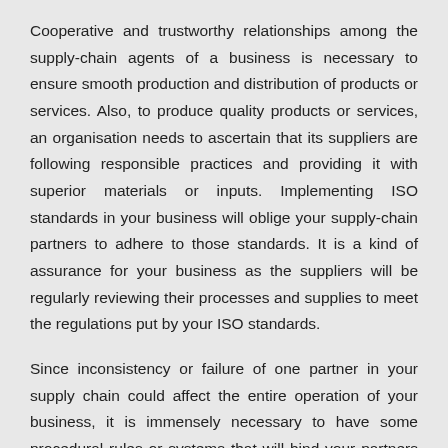Cooperative and trustworthy relationships among the supply-chain agents of a business is necessary to ensure smooth production and distribution of products or services. Also, to produce quality products or services, an organisation needs to ascertain that its suppliers are following responsible practices and providing it with superior materials or inputs. Implementing ISO standards in your business will oblige your supply-chain partners to adhere to those standards. It is a kind of assurance for your business as the suppliers will be regularly reviewing their processes and supplies to meet the regulations put by your ISO standards.
Since inconsistency or failure of one partner in your supply chain could affect the entire operation of your business, it is immensely necessary to have some procedural rules or systems that will bind your partners with each other and make them accountable for your performance. Any ISO management standard help in assuring that. Achieving them can result in better and efficient supply-chain management.
Key Takeaways